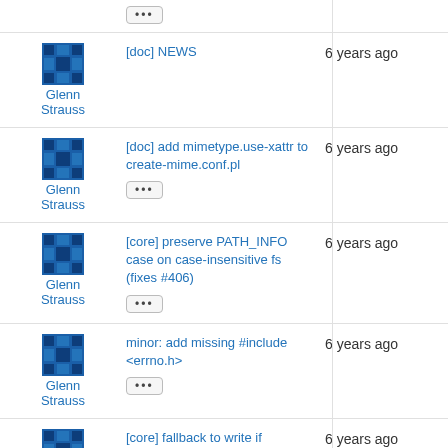... (dots button, partial row)
Glenn Strauss | [doc] NEWS | 6 years ago
Glenn Strauss | [doc] add mimetype.use-xattr to create-mime.conf.pl | 6 years ago
Glenn Strauss | [core] preserve PATH_INFO case on case-insensitive fs (fixes #406) | 6 years ago
Glenn Strauss | minor: add missing #include <errno.h> | 6 years ago
Glenn Strauss | [core] fallback to write if sendfile not supported | 6 years ago